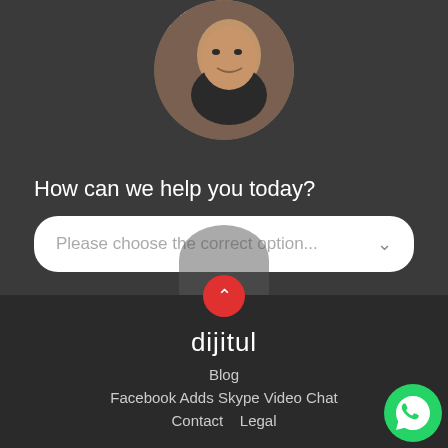[Figure (photo): Circular avatar photo of a man with a background showing text: DRIVING NEW CUSTOMERS TO YOUR BUSINESS]
How can we help you today?
[Figure (screenshot): Dropdown selector with placeholder: Please choose the correct option...]
[Figure (logo): dijitul logo text in white with red dot on i]
Blog
Facebook Adds Skype Video Chat
Contact   Legal
[Figure (logo): WhatsApp green icon button in bottom right corner]